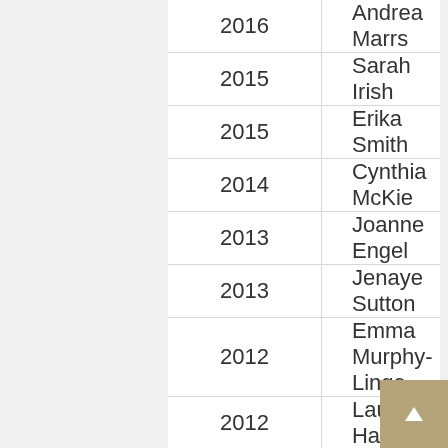| Year | Name |
| --- | --- |
| 2016 | Andrea Marrs |
| 2015 | Sarah Irish |
| 2015 | Erika Smith |
| 2014 | Cynthia McKie |
| 2013 | Joanne Engel |
| 2013 | Jenaye Sutton |
| 2012 | Emma Murphy-Lingo |
| 2012 | Laura Harwood |
| 2011 | Lorien Roeder |
| 2011 | Deborah Oley |